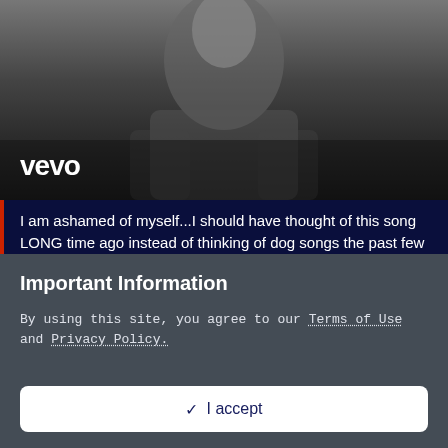[Figure (photo): Black and white photo of a person (likely Billy Ray Cyrus) with Vevo logo overlay in bottom left]
I am ashamed of myself...I should have thought of this song LONG time ago instead of thinking of dog songs the past few days. I use to be one of the biggest Billy Ray Cyrus fans. Saw him seven times in concert...even got shoved on stage with him to get his autograph...Yep I should have thought of this song. This is a great dog song if there ever was one!
+ Quote
Important Information
By using this site, you agree to our Terms of Use and Privacy Policy.
✓ I accept